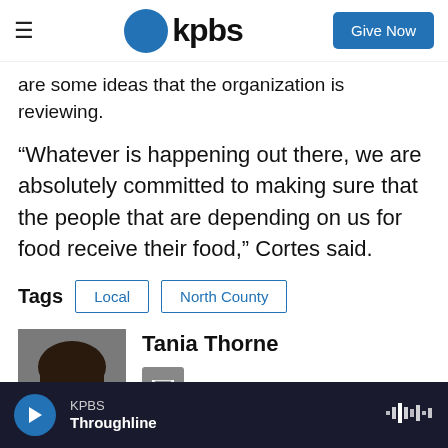KPBS – Give Now
are some ideas that the organization is reviewing.
“Whatever is happening out there, we are absolutely committed to making sure that the people that are depending on us for food receive their food,” Cortes said.
Tags   Local   North County
[Figure (photo): Headshot of Tania Thorne, a woman with long dark hair and red lips, smiling, against a grey background.]
Tania Thorne
I love hearing from the community and listening to what’s important to you. No
KPBS – Throughline (audio player bar)